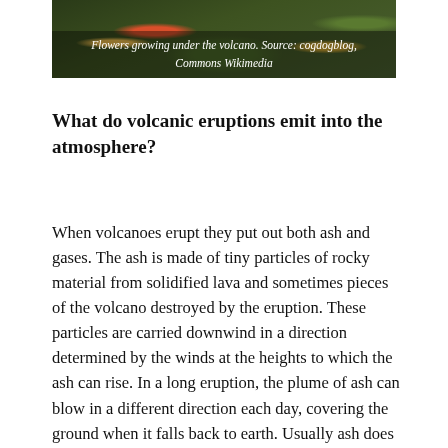[Figure (photo): Photo of flowers growing under a volcano, partially visible at top of page with dark overlay showing caption text]
Flowers growing under the volcano. Source: cogdogblog, Commons Wikimedia
What do volcanic eruptions emit into the atmosphere?
When volcanoes erupt they put out both ash and gases. The ash is made of tiny particles of rocky material from solidified lava and sometimes pieces of the volcano destroyed by the eruption. These particles are carried downwind in a direction determined by the winds at the heights to which the ash can rise. In a long eruption, the plume of ash can blow in a different direction each day, covering the ground when it falls back to earth. Usually ash does not rise very high in the atmosphere because it is quite heavy and so most of it falls out in just a few days.